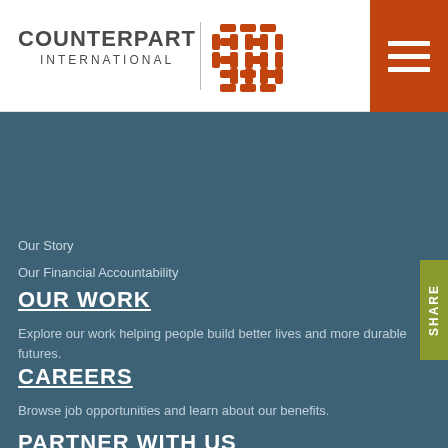[Figure (logo): Counterpart International logo with text and orange basket-weave icon]
Our Story
Our Financial Accountability
OUR WORK
Explore our work helping people build better lives and more durable futures.
CAREERS
Browse job opportunities and learn about our benefits.
PARTNER WITH US
Collaborative partnership is at the core of our work. Achieve more with us.